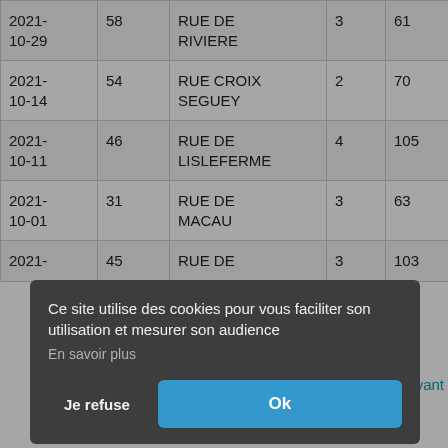| 2021-10-29 | 58 | RUE DE RIVIERE | 3 | 61 | 285 |
| 2021-10-14 | 54 | RUE CROIX SEGUEY | 2 | 70 | 280 |
| 2021-10-11 | 46 | RUE DE LISLEFERME | 4 | 105 | 400 |
| 2021-10-01 | 31 | RUE DE MACAU | 3 | 63 | 335 |
| 2021- | 45 | RUE DE | 3 | 103 | 625 |
Ce site utilise des cookies pour vous faciliter son utilisation et mesurer son audience
En savoir plus
Je refuse
Ok
Estimateur-immobilier